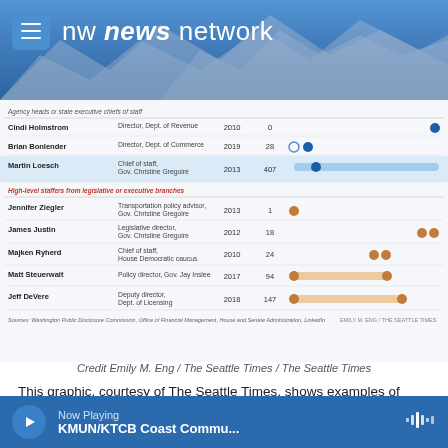nw news network
[Figure (infographic): Graphic from The Seattle Times showing examples of Washington's revolving door between public service and lobbying. Table with columns: Name, Role, Year, Count. Rows include agency heads/state executive chiefs of staff (Cindi Holmstrom, Brian Bonlender, Martin Loesch) and high-level staffers from legislative or executive branches (Jennifer Ziegler, James Justin, Majken Ryherd, Matt Steuerwalt, Jeff DeVere). Horizontal bar/dot chart on right side showing lobbying client counts.]
Credit Emily M. Eng / The Seattle Times / The Seattle Times
This graphic, courtesy of The Seattle Times, shows examples of Washington's so-called revolving door between public service and lobbying.
“I am passionate about eliminating what I call the ‘Friday to Monday problem,’” said Democratic state
Now Playing
KMUN/KTCB Coast Commu...